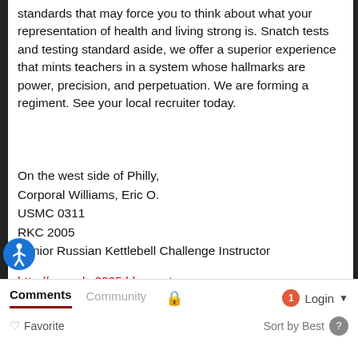standards that may force you to think about what your representation of health and living strong is. Snatch tests and testing standard aside, we offer a superior experience that mints teachers in a system whose hallmarks are power, precision, and perpetuation. We are forming a regiment. See your local recruiter today.
On the west side of Philly,
Corporal Williams, Eric O.
USMC 0311
RKC 2005
Senior Russian Kettlebell Challenge Instructor
http://www.rkc2005.blogspot.com
http://www.dragondoor.com/?apid=0311
Back
Comments  Community  Login  Favorite  Sort by Best